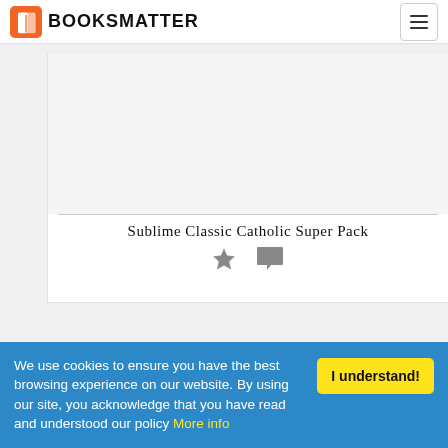BOOKSMATTER
[Figure (illustration): Book cover image area (blank/white) inside a card with border]
Sublime Classic Catholic Super Pack
[Figure (illustration): Star icon and comment bubble icon below the book title]
We use cookies to ensure you have the best browsing experience on our website. By using our site, you acknowledge that you have read and understood our policy More info